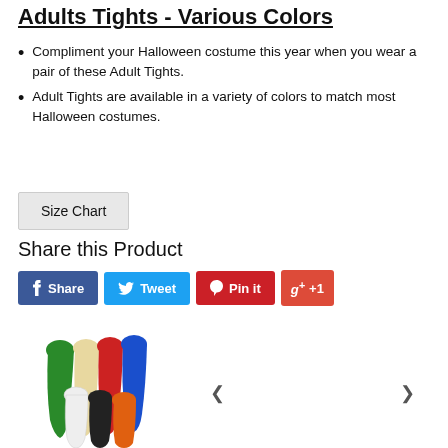Adults Tights - Various Colors
Compliment your Halloween costume this year when you wear a pair of these Adult Tights.
Adult Tights are available in a variety of colors to match most Halloween costumes.
Size Chart
Share this Product
[Figure (screenshot): Social share buttons: Facebook Share (blue), Twitter Tweet (light blue), Pinterest Pin it (red), Google +1 (orange-red)]
[Figure (photo): Multiple pairs of adult tights in various colors: green, beige/cream, red, blue, white, black, orange displayed as legs]